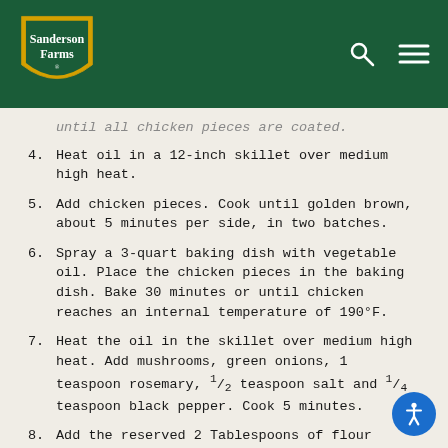Sanderson Farms
until all chicken pieces are coated.
4. Heat oil in a 12-inch skillet over medium high heat.
5. Add chicken pieces. Cook until golden brown, about 5 minutes per side, in two batches.
6. Spray a 3-quart baking dish with vegetable oil. Place the chicken pieces in the baking dish. Bake 30 minutes or until chicken reaches an internal temperature of 190°F.
7. Heat the oil in the skillet over medium high heat. Add mushrooms, green onions, 1 teaspoon rosemary, 1/2 teaspoon salt and 1/4 teaspoon black pepper. Cook 5 minutes.
8. Add the reserved 2 Tablespoons of flour mixture. Cook 1 minute.
9. Add 1 cup chicken broth, whipping cream and